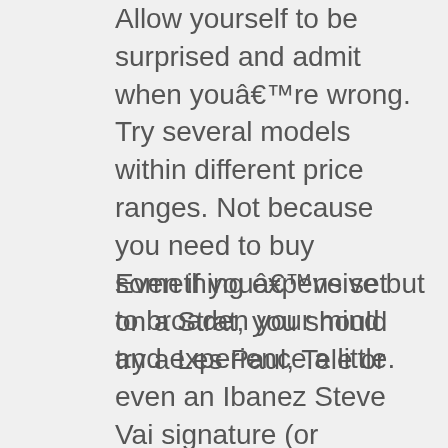Allow yourself to be surprised and admit when youâre wrong. Try several models within different price ranges. Not because you need to buy something expensive but to broaden your mind and experience a little.
Even if youâve set on a Strat, you should try a Les Paul, Tele or even an Ibanez Steve Vai signature (or perhaps notâ¦) just to get an idea what the differences are.